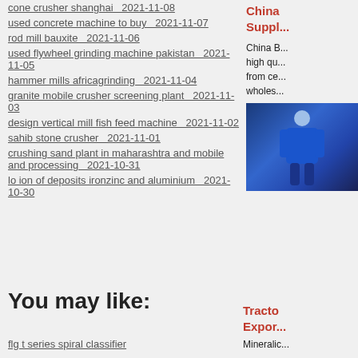cone crusher shanghai  2021-11-08
used concrete machine to buy  2021-11-07
rod mill bauxite  2021-11-06
used flywheel grinding machine pakistan  2021-11-05
hammer mills africagrinding  2021-11-04
granite mobile crusher screening plant  2021-11-03
design vertical mill fish feed machine  2021-11-02
sahib stone crusher  2021-11-01
crushing sand plant in maharashtra and mobile and processing  2021-10-31
lo ion of deposits ironzinc and aluminium  2021-10-30
China B... high qu... from ce... wholes...
[Figure (photo): Person in blue jacket/uniform]
You may like:
flg t series spiral classifier
China Suppl...
Tracto Expor...
Mineralic...